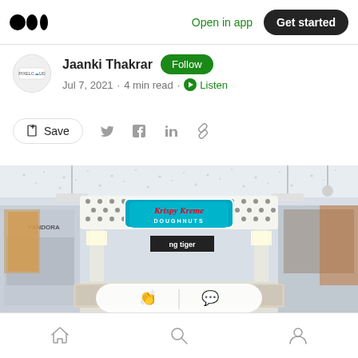Medium logo | Open in app | Get started
Jaanki Thakrar | Follow | Jul 7, 2021 · 4 min read · Listen
Save (share icons: Twitter, Facebook, LinkedIn, Link)
[Figure (photo): Krispy Kreme Doughnuts store kiosk in a shopping mall with decorative glittering ceiling, showing the brand logo sign and surrounding mall stores]
Home | Search | Profile icons